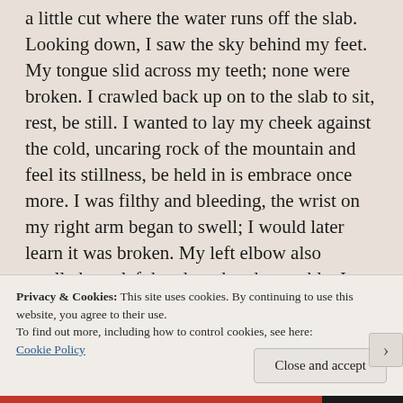a little cut where the water runs off the slab. Looking down, I saw the sky behind my feet. My tongue slid across my teeth; none were broken. I crawled back up on to the slab to sit, rest, be still. I wanted to lay my cheek against the cold, uncaring rock of the mountain and feel its stillness, be held in is embrace once more. I was filthy and bleeding, the wrist on my right arm began to swell; I would later learn it was broken. My left elbow also swelled, my left hand rendered unusable. I down-climbed off the mountain in the sunset, with two fingers on my left hand and the forearm of my right,
Privacy & Cookies: This site uses cookies. By continuing to use this website, you agree to their use.
To find out more, including how to control cookies, see here: Cookie Policy
Close and accept